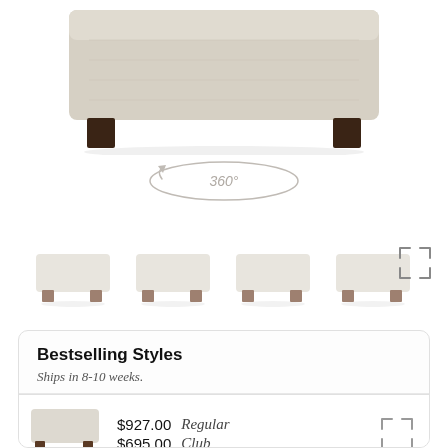[Figure (photo): Main product photo of a beige upholstered ottoman with dark wooden legs, viewed from a slight angle. Below it is a 360° rotation badge (oval outline with '360°' text).]
[Figure (photo): Row of four small thumbnail images of the same beige ottoman from slightly different angles, plus an expand/fullscreen icon on the right.]
Bestselling Styles
Ships in 8-10 weeks.
[Figure (photo): Small thumbnail of beige ottoman with dark legs.]
$927.00  Regular
$695.00  Club